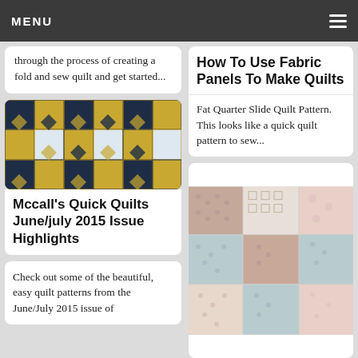MENU
through the process of creating a fold and sew quilt and get started...
[Figure (photo): Close-up photo of a quilt with gold, dark navy, and light blue geometric block pattern]
Mccall's Quick Quilts June/july 2015 Issue Highlights
Check out some of the beautiful, easy quilt patterns from the June/July 2015 issue of
How To Use Fabric Panels To Make Quilts
Fat Quarter Slide Quilt Pattern. This looks like a quick quilt pattern to sew...
[Figure (photo): Photo of a quilt with pink/mauve, cream, and teal patchwork geometric block pattern]